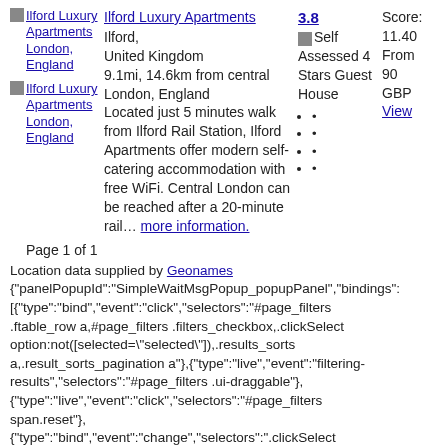Ilford Luxury Apartments
Ilford, United Kingdom
9.1mi, 14.6km from central London, England
Located just 5 minutes walk from Ilford Rail Station, Ilford Apartments offer modern self-catering accommodation with free WiFi. Central London can be reached after a 20-minute rail… more information.
3.8
Self Assessed 4 Stars Guest House
Score: 11.40 From 90 GBP
View
Page 1 of 1
Location data supplied by Geonames
{"panelPopupId":"SimpleWaitMsgPopup_popupPanel","bindings":[{"type":"bind","event":"click","selectors":"#page_filters .ftable_row a,#page_filters .filters_checkbox,.clickSelect option:not([selected=\"selected\"]),.results_sorts a,.result_sorts_pagination a"},{"type":"live","event":"filtering-results","selectors":"#page_filters .ui-draggable"},{"type":"live","event":"click","selectors":"#page_filters span.reset"},{"type":"bind","event":"change","selectors":".clickSelect select"}]}